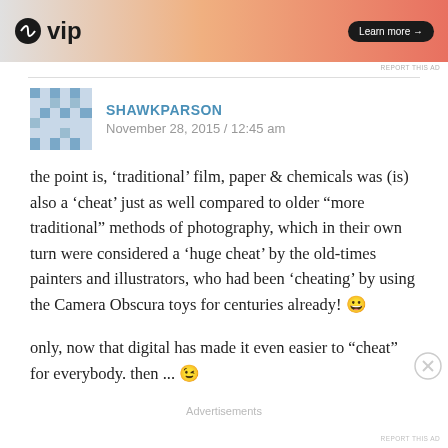[Figure (screenshot): WordPress VIP advertisement banner with logo and Learn more button]
REPORT THIS AD
SHAWKPARSON
November 28, 2015 / 12:45 am
the point is, ‘traditional’ film, paper & chemicals was (is) also a ‘cheat’ just as well compared to older “more traditional” methods of photography, which in their own turn were considered a ‘huge cheat’ by the old-times painters and illustrators, who had been ‘cheating’ by using the Camera Obscura toys for centuries already! 😀
only, now that digital has made it even easier to “cheat” for everybody. then ... 😉
Advertisements
REPORT THIS AD